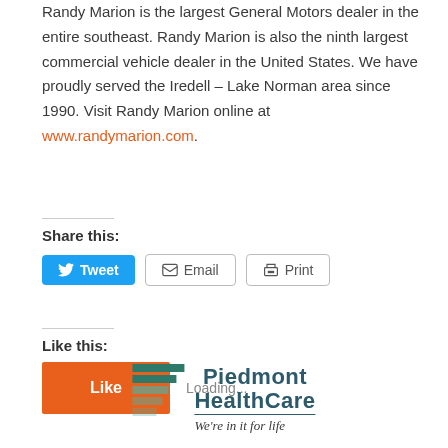Randy Marion is the largest General Motors dealer in the entire southeast. Randy Marion is also the ninth largest commercial vehicle dealer in the United States. We have proudly served the Iredell – Lake Norman area since 1990. Visit Randy Marion online at www.randymarion.com.
Share this:
[Figure (screenshot): Social sharing buttons: Tweet (blue Twitter button), Email (outlined button with envelope icon), Print (outlined button with printer icon)]
Like this:
[Figure (screenshot): WordPress Like button (orange) with 'Like' text and 'Loading...' placeholder text]
[Figure (logo): Piedmont HealthCare logo with stacked green bars on left and text 'Piedmont HealthCare' with tagline 'We're in it for life']